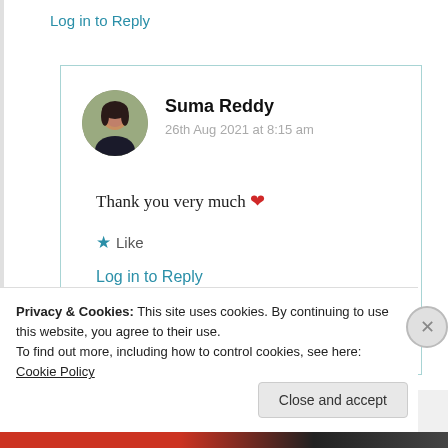Log in to Reply
[Figure (photo): Circular avatar photo of Suma Reddy, a woman with dark hair]
Suma Reddy
26th Aug 2021 at 8:15 am
Thank you very much ❤
★ Like
Log in to Reply
Privacy & Cookies: This site uses cookies. By continuing to use this website, you agree to their use.
To find out more, including how to control cookies, see here: Cookie Policy
Close and accept